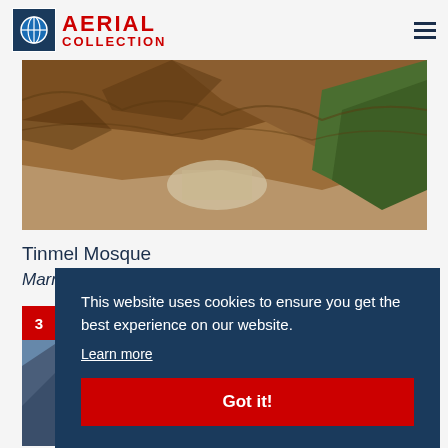AERIAL COLLECTION
[Figure (photo): Aerial view of Tinmel Mosque area showing mountainous terrain with rocky brown hillsides and green vegetation, with a small settlement visible in the middle]
Tinmel Mosque
Marrakech, Morocco
[Figure (photo): Partial view of a mountain landscape photo below, with a red badge showing number 3]
This website uses cookies to ensure you get the best experience on our website. Learn more
Got it!